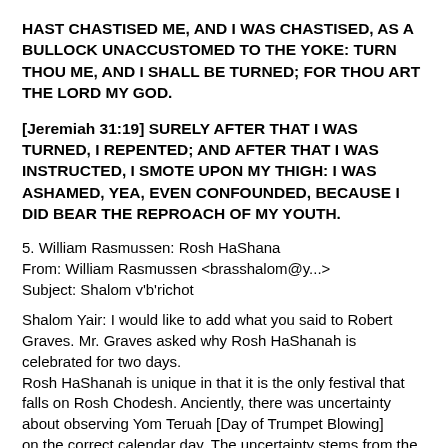HAST CHASTISED ME, AND I WAS CHASTISED, AS A BULLOCK UNACCUSTOMED TO THE YOKE: TURN THOU ME, AND I SHALL BE TURNED; FOR THOU ART THE LORD MY GOD.
[Jeremiah 31:19] SURELY AFTER THAT I WAS TURNED, I REPENTED; AND AFTER THAT I WAS INSTRUCTED, I SMOTE UPON MY THIGH: I WAS ASHAMED, YEA, EVEN CONFOUNDED, BECAUSE I DID BEAR THE REPROACH OF MY YOUTH.
5. William Rasmussen: Rosh HaShana
From: William Rasmussen <brasshalom@y...>
Subject: Shalom v'b'richot
Shalom Yair: I would like to add what you said to Robert Graves. Mr. Graves asked why Rosh HaShanah is celebrated for two days.
Rosh HaShanah is unique in that it is the only festival that falls on Rosh Chodesh. Anciently, there was uncertainty about observing Yom Teruah [Day of Trumpet Blowing]
on the correct calendar day. The uncertainty stems from the